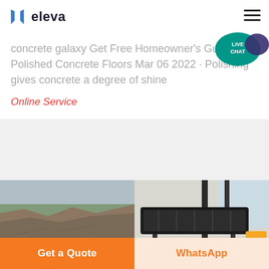eleva
concrete galaxy Get Free Homeowner's Guide to Polished Concrete Floors Mar 06 2022 · Polishing gives concrete a degree of shine
Online Service
[Figure (photo): Left: rocky hillside with trees in background; Right: industrial conveyor belt or screening machine in an indoor facility]
Get a Quote
WhatsApp